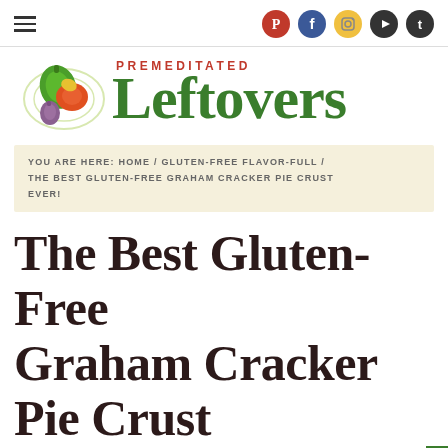Navigation bar with hamburger menu and social icons (Pinterest, Facebook, Instagram, YouTube, Twitter)
[Figure (logo): Premeditated Leftovers logo with vegetable illustration and green serif text]
YOU ARE HERE: HOME / GLUTEN-FREE FLAVOR-FULL / THE BEST GLUTEN-FREE GRAHAM CRACKER PIE CRUST EVER!
The Best Gluten-Free Graham Cracker Pie Crust Ever!